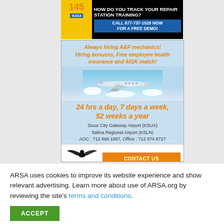[Figure (infographic): EASA banner ad: '145' in orange, EASA logo in blue, text 'HOW DO YOU TRACK YOUR REPAIR STATION TRAINING?' in white on black, 'CALL 877-737-1529 NOW FOR A FREE DEMO!' in white on blue]
[Figure (infographic): 1 Vision Aviation ad with airplane image. Orange italic text: 'Always hiring A&P mechanics! Hiring bonuses, Free employee health insurance and 401K match!' Orange bold italic: '24 hrs a day, 7 days a week, 52 weeks a year'. Black text: 'Sioux City Gateway Airport (KSUX)', 'Salina Regional Airport (KSLN)', 'AOC : 712 899 1997, Office : 712 574 8727'. Orange CONTACT US button. 1 Vision Aviation logo with eagle. 'Airline • General Aviation' tagline.]
ARSA uses cookies to improve its website experience and show relevant advertising. Learn more about use of ARSA.org by reviewing the site's terms and conditions.
ACCEPT